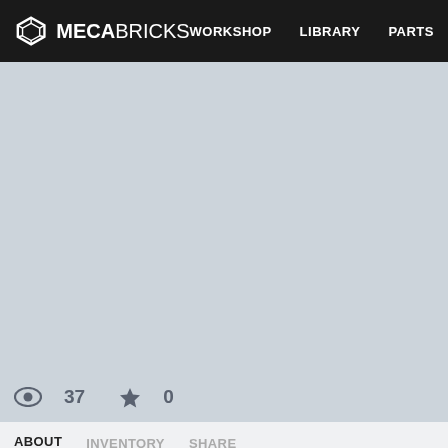MECABRICKS   WORKSHOP   LIBRARY   PARTS
[Figure (photo): Light blue-grey placeholder image area for a LEGO model or scene]
37   0
ABOUT   INVENTORY   SHARE
Refuge of the Past
CHAPTER 2: THE SHOCK
TG decided to ask someone what year they were in. "Do you kno